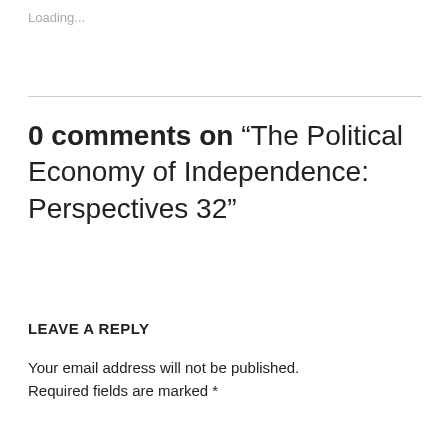Loading...
0 comments on “The Political Economy of Independence: Perspectives 32”
LEAVE A REPLY
Your email address will not be published. Required fields are marked *